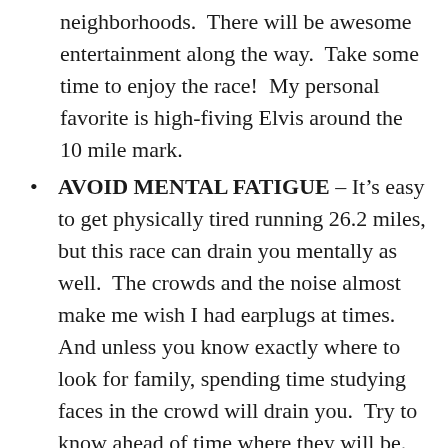neighborhoods.  There will be awesome entertainment along the way.  Take some time to enjoy the race!  My personal favorite is high-fiving Elvis around the 10 mile mark.
AVOID MENTAL FATIGUE – It's easy to get physically tired running 26.2 miles, but this race can drain you mentally as well.  The crowds and the noise almost make me wish I had earplugs at times.  And unless you know exactly where to look for family, spending time studying faces in the crowd will drain you.  Try to know ahead of time where they will be.  Or pick a side of the course to be on and tell the family that you will be running on that side.  Also, try breaking the race up into small segments, for instance every 5